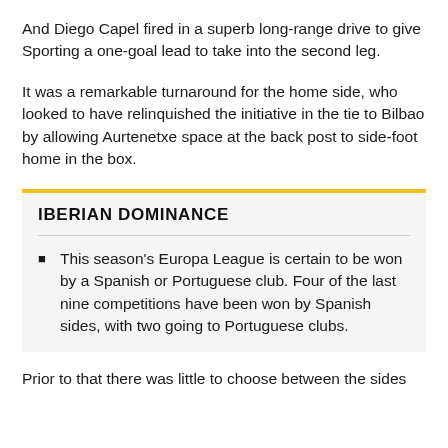And Diego Capel fired in a superb long-range drive to give Sporting a one-goal lead to take into the second leg.
It was a remarkable turnaround for the home side, who looked to have relinquished the initiative in the tie to Bilbao by allowing Aurtenetxe space at the back post to side-foot home in the box.
IBERIAN DOMINANCE
This season's Europa League is certain to be won by a Spanish or Portuguese club. Four of the last nine competitions have been won by Spanish sides, with two going to Portuguese clubs.
Prior to that there was little to choose between the sides